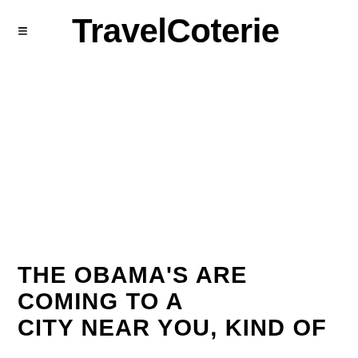≡ TravelCoterie
THE OBAMA'S ARE COMING TO A CITY NEAR YOU, KIND OF